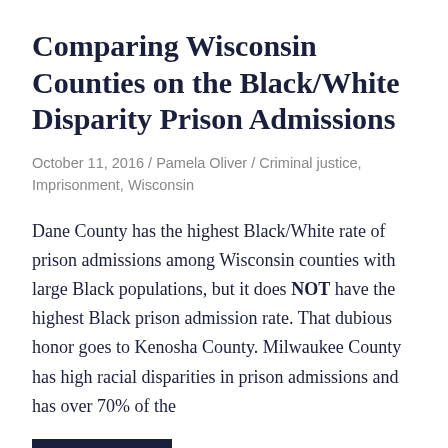Comparing Wisconsin Counties on the Black/White Disparity Prison Admissions
October 11, 2016 / Pamela Oliver / Criminal justice, Imprisonment, Wisconsin
Dane County has the highest Black/White rate of prison admissions among Wisconsin counties with large Black populations, but it does NOT have the highest Black prison admission rate. That dubious honor goes to Kenosha County. Milwaukee County has high racial disparities in prison admissions and has over 70% of the
READ MORE
Race, Mass Incarceration, and Bill